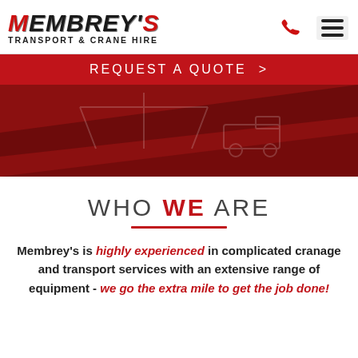[Figure (logo): Membrey's Transport & Crane Hire logo with company name and phone/menu icons]
REQUEST A QUOTE  >
[Figure (photo): Dark red hero image with a diagonal shape, faintly showing crane/transport silhouettes]
WHO WE ARE
Membrey's is highly experienced in complicated cranage and transport services with an extensive range of equipment - we go the extra mile to get the job done!